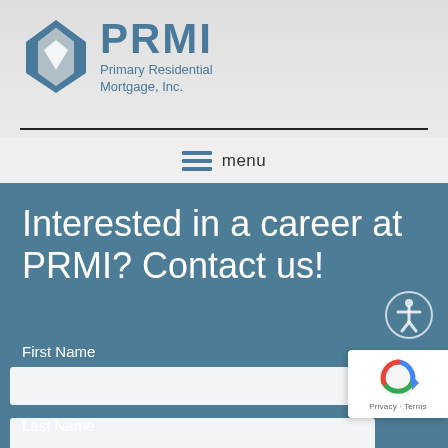[Figure (logo): PRMI logo with diamond/chevron shape and text 'PRMI Primary Residential Mortgage, Inc.']
[Figure (other): Hamburger menu icon with three horizontal lines followed by the word 'menu']
Interested in a career at PRMI? Contact us!
First Name
Last Name
[Figure (other): reCAPTCHA badge with Google reCAPTCHA logo and 'Privacy - Terms' text]